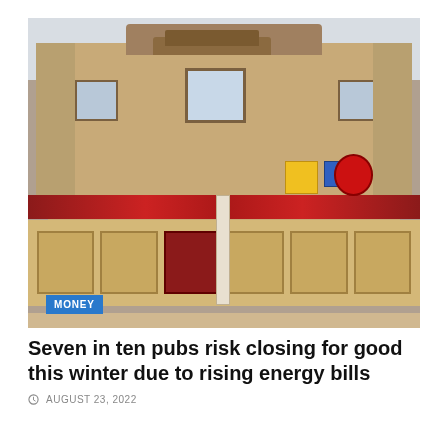[Figure (photo): A boarded-up British pub building with red awning and yellow/blue/red signs, two-storey Victorian brick facade with ornamental roofline, windows visible on upper floors, lower windows and doors boarded up with plywood. A MONEY category badge overlaid in bottom-left corner of the image.]
Seven in ten pubs risk closing for good this winter due to rising energy bills
AUGUST 23, 2022